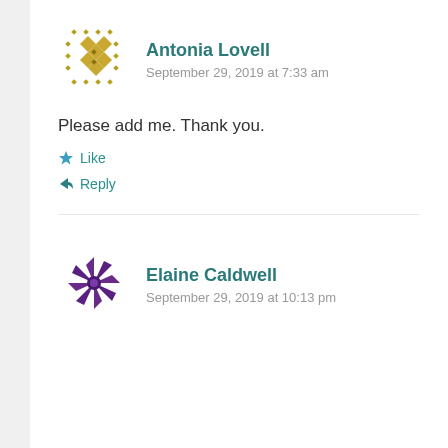[Figure (illustration): Avatar icon for Antonia Lovell — decorative geometric diamond/dot pattern in olive/gold tones]
Antonia Lovell
September 29, 2019 at 7:33 am
Please add me. Thank you.
Like
Reply
[Figure (illustration): Avatar icon for Elaine Caldwell — decorative star/pinwheel pattern in purple tones]
Elaine Caldwell
September 29, 2019 at 10:13 pm